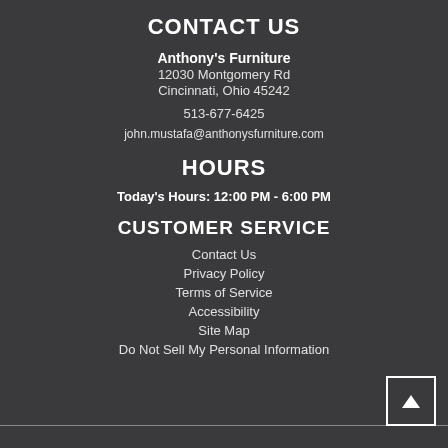CONTACT US
Anthony's Furniture
12030 Montgomery Rd
Cincinnati, Ohio 45242
513-677-6425
john.mustafa@anthonysfurniture.com
HOURS
Today's Hours: 12:00 PM - 6:00 PM
CUSTOMER SERVICE
Contact Us
Privacy Policy
Terms of Service
Accessibility
Site Map
Do Not Sell My Personal Information